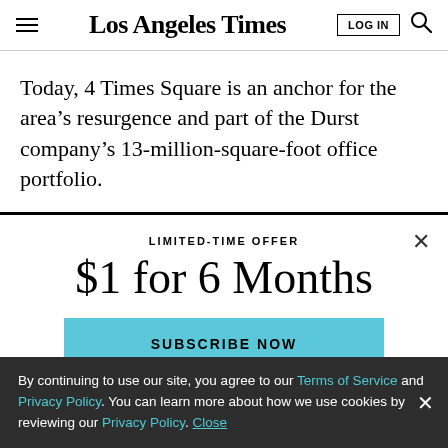Los Angeles Times
Today, 4 Times Square is an anchor for the area’s resurgence and part of the Durst company’s 13-million-square-foot office portfolio.
LIMITED-TIME OFFER
$1 for 6 Months
SUBSCRIBE NOW
By continuing to use our site, you agree to our Terms of Service and Privacy Policy. You can learn more about how we use cookies by reviewing our Privacy Policy. Close